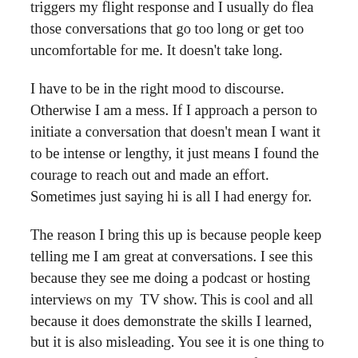triggers my flight response and I usually do flea those conversations that go too long or get too uncomfortable for me. It doesn't take long.
I have to be in the right mood to discourse. Otherwise I am a mess. If I approach a person to initiate a conversation that doesn't mean I want it to be intense or lengthy, it just means I found the courage to reach out and made an effort. Sometimes just saying hi is all I had energy for.
The reason I bring this up is because people keep telling me I am great at conversations. I see this because they see me doing a podcast or hosting interviews on my  TV show. This is cool and all because it does demonstrate the skills I learned, but it is also misleading. You see it is one thing to interview someone asking them specific questions with a set purpose. You don't see the behind the scenes where I tell the person I am interviewing point blank it will be a short, to the point interview and you don't see me wrapping up the interview